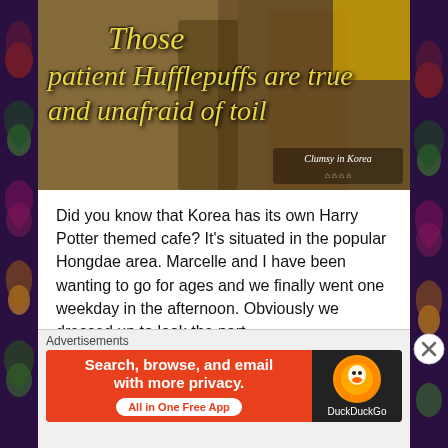[Figure (photo): Header image of Harry Potter themed cafe with decorative floral border on sides, overlaid with italic yellow text quote about Hufflepuffs, and 'Clumsy in Korea' logo bottom right]
Did you know that Korea has its own Harry Potter themed cafe? It's situated in the popular Hongdae area. Marcelle and I have been wanting to go for ages and we finally went one weekday in the afternoon. Obviously we dressed up to look the part.

The building itself is very impressive on the outside and already sets the scene for what awaits you inside.
They also have some outside props you can take photos with and there is an entrance to the Hog's
Advertisements
[Figure (screenshot): DuckDuckGo advertisement banner: orange background with text 'Search, browse, and email with more privacy. All in One Free App' and DuckDuckGo logo on dark background]